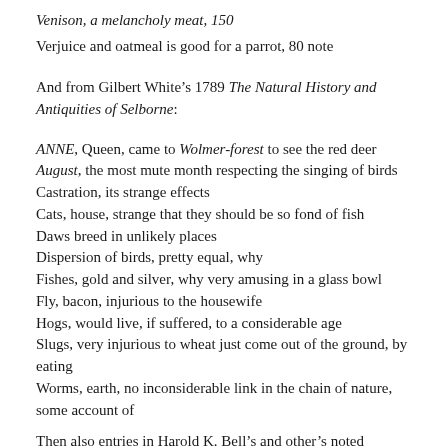Venison, a melancholy meat, 150
Verjuice and oatmeal is good for a parrot, 80 note
And from Gilbert White's 1789 The Natural History and Antiquities of Selborne:
ANNE, Queen, came to Wolmer-forest to see the red deer
August, the most mute month respecting the singing of birds
Castration, its strange effects
Cats, house, strange that they should be so fond of fish
Daws breed in unlikely places
Dispersion of birds, pretty equal, why
Fishes, gold and silver, why very amusing in a glass bowl
Fly, bacon, injurious to the housewife
Hogs, would live, if suffered, to a considerable age
Slugs, very injurious to wheat just come out of the ground, by eating
Worms, earth, no inconsiderable link in the chain of nature, some account of
Then also entries in Harold K. Bell's...